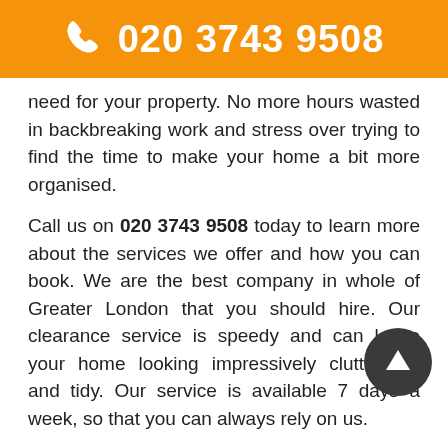020 3743 9508
need for your property. No more hours wasted in backbreaking work and stress over trying to find the time to make your home a bit more organised.
Call us on 020 3743 9508 today to learn more about the services we offer and how you can book. We are the best company in whole of Greater London that you should hire. Our clearance service is speedy and can leave your home looking impressively clutter-free and tidy. Our service is available 7 days a week, so that you can always rely on us.
We offer flexible service hours which is why you don’t have to worry about the time we can come. The rates of our company are recognised as the lowest around, and you will be very pleased to find that there are no hidden costs or extra fees. You pay only for what we remove. There is no reason to hesitate - contact us today or fill in the online form!